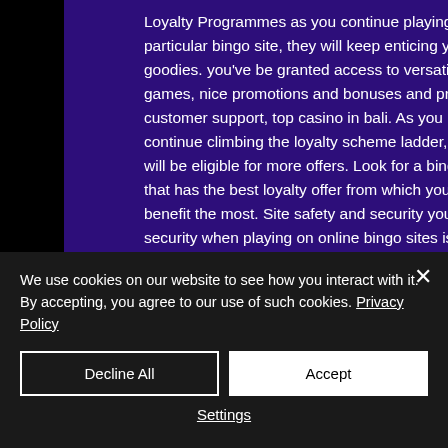Loyalty Programmes as you continue playing on a particular bingo site, they will keep enticing you with goodies. you've be granted access to versatile games, nice promotions and bonuses and prompt customer support, top casino in bali. As you continue climbing the loyalty scheme ladder, you will be eligible for more offers. Look for a bingo site that has the best loyalty offer from which you can benefit the most. Site safety and security your security when playing on online bingo sites is important. Online casinos try and
We use cookies on our website to see how you interact with it. By accepting, you agree to our use of such cookies. Privacy Policy
Decline All
Accept
Settings